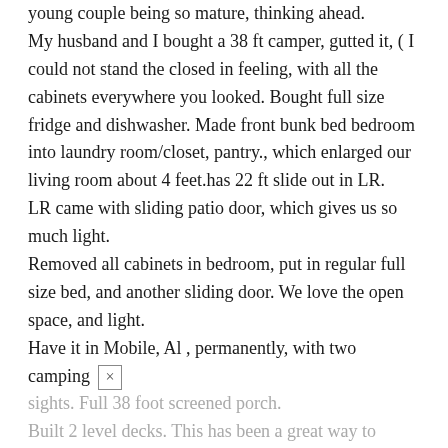young couple being so mature, thinking ahead. My husband and I bought a 38 ft camper, gutted it, ( I could not stand the closed in feeling, with all the cabinets everywhere you looked. Bought full size fridge and dishwasher. Made front bunk bed bedroom into laundry room/closet, pantry., which enlarged our living room about 4 feet.has 22 ft slide out in LR. LR came with sliding patio door, which gives us so much light. Removed all cabinets in bedroom, put in regular full size bed, and another sliding door. We love the open space, and light. Have it in Mobile, Al , permanently, with two camping sights. Full 38 foot screened porch. Built 2 level decks. This has been a great way to enjoy